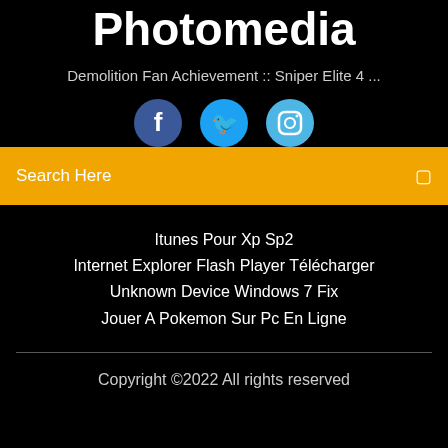Photomedia
Demolition Fan Achievement :: Sniper Elite 4 ...
[Figure (illustration): Three social media icons: Facebook (dark blue circle with 'f'), Twitter (blue circle with bird icon), Instagram (light blue circle with camera icon)]
Search Here
Itunes Pour Xp Sp2
Internet Explorer Flash Player Télécharger
Unknown Device Windows 7 Fix
Jouer A Pokemon Sur Pc En Ligne
Copyright ©2022 All rights reserved